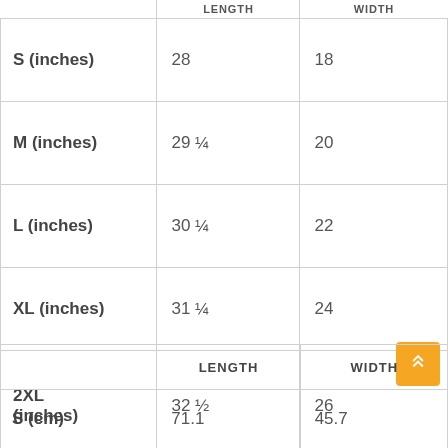|  | LENGTH | WIDTH |
| --- | --- | --- |
| S (inches) | 28 | 18 |
| M (inches) | 29 ¼ | 20 |
| L (inches) | 30 ¼ | 22 |
| XL (inches) | 31 ¼ | 24 |
| 2XL (inches) | 32 ½ | 26 |
| 3XL (inches) | 33 ½ | 28 |
|  | LENGTH | WIDTH |
| --- | --- | --- |
| S (cm) | 71.1 | 45.7 |